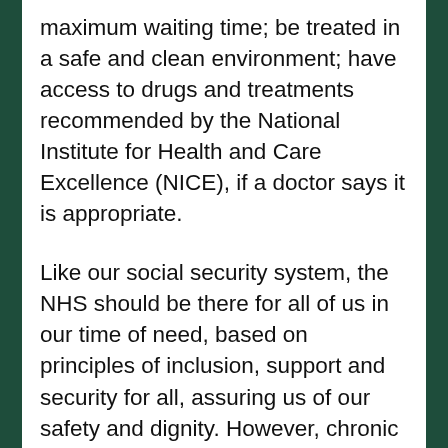maximum waiting time; be treated in a safe and clean environment; have access to drugs and treatments recommended by the National Institute for Health and Care Excellence (NICE), if a doctor says it is appropriate.
Like our social security system, the NHS should be there for all of us in our time of need, based on principles of inclusion, support and security for all, assuring us of our safety and dignity. However, chronic under funding, rationing and the increasing marketisation and 'efficiency savings' demanded by the government are